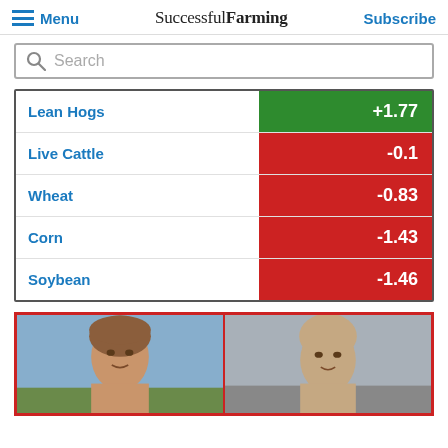Menu | Successful Farming | Subscribe
Search
[Figure (bar-chart): Commodity price changes]
[Figure (photo): Two men in a video call screenshot, left man with brown hair outdoors near farm equipment, right man bald indoors]